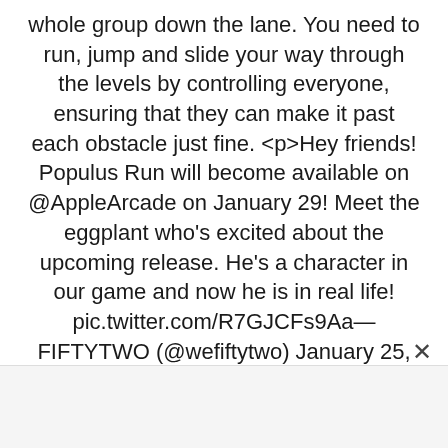whole group down the lane. You need to run, jump and slide your way through the levels by controlling everyone, ensuring that they can make it past each obstacle just fine. <p>Hey friends! Populus Run will become available on @AppleArcade on January 29! Meet the eggplant who's excited about the upcoming release. He's a character in our game and now he is in real life! pic.twitter.com/R7GJCFs9Aa&mdash; FIFTYTWO (@wefiftytwo) January 25, 2021The usual quirks of the runner genre are still on display here though. You&rsquo;re dodging and evading various hazards such as giant doughnuts, large vehicles and big